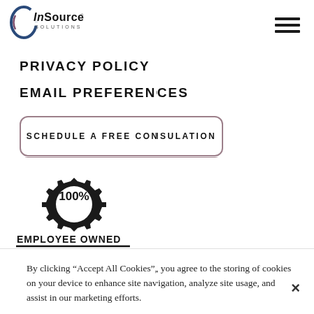[Figure (logo): InSource Solutions logo with stylized circular C shape and text 'InSource SOLUTIONS']
[Figure (other): Hamburger menu icon with three horizontal bars]
PRIVACY POLICY
EMAIL PREFERENCES
SCHEDULE A FREE CONSULATION
[Figure (illustration): 100% Employee Owned badge with gear/cog icon on top half and bold text '100%' inside and 'EMPLOYEE OWNED' below with underline]
By clicking “Accept All Cookies”, you agree to the storing of cookies on your device to enhance site navigation, analyze site usage, and assist in our marketing efforts.